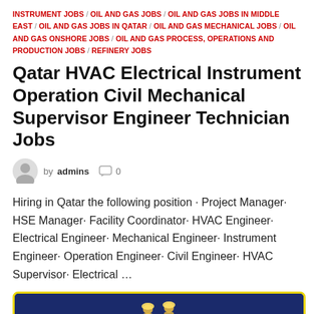INSTRUMENT JOBS / OIL AND GAS JOBS / OIL AND GAS JOBS IN MIDDLE EAST / OIL AND GAS JOBS IN QATAR / OIL AND GAS MECHANICAL JOBS / OIL AND GAS ONSHORE JOBS / OIL AND GAS PROCESS, OPERATIONS AND PRODUCTION JOBS / REFINERY JOBS
Qatar HVAC Electrical Instrument Operation Civil Mechanical Supervisor Engineer Technician Jobs
by admins  0
Hiring in Qatar the following position · Project Manager· HSE Manager· Facility Coordinator· HVAC Engineer· Electrical Engineer· Mechanical Engineer· Instrument Engineer· Operation Engineer· Civil Engineer· HVAC Supervisor· Electrical ...
[Figure (photo): Thumbnail image with yellow border showing workers/engineers silhouettes against a dark blue background]